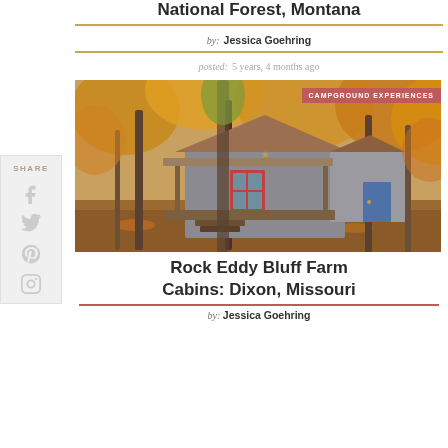National Forest, Montana
by: Jessica Goehring
posted: 5 years, 4 months ago
[Figure (photo): Rustic gray wooden cabin with red-trimmed window and blue door, surrounded by autumn foliage trees with orange and yellow leaves, steps leading up to a covered porch. Badge overlay reads CAMPGROUND EXPERIENCES.]
Rock Eddy Bluff Farm Cabins: Dixon, Missouri
by: Jessica Goehring